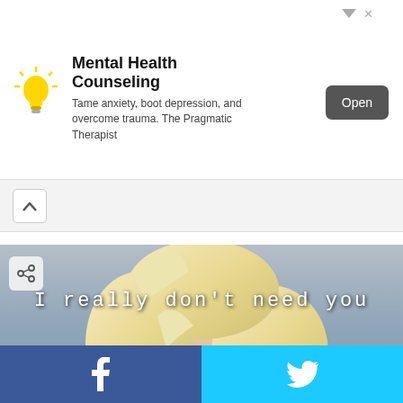[Figure (infographic): Advertisement banner: lightbulb icon on left, 'Mental Health Counseling' title, 'Tame anxiety, boot depression, and overcome trauma. The Pragmatic Therapist' description, dark 'Open' button on right. Small triangle and X icons in top-right corner.]
Mental Health Counseling
Tame anxiety, boot depression, and overcome trauma. The Pragmatic Therapist
[Figure (photo): Meme image showing a blonde woman (resembling Marilyn Monroe) with red lips looking at the camera. Text overlay reads 'I really don't need you' in white monospace font. A share button is in the top-left and a scroll-to-top button is in the bottom-right of the image.]
I really don't need you
[Figure (infographic): Social sharing footer bar split into two: left half is dark blue with Facebook 'f' icon, right half is bright cyan/blue with Twitter bird icon.]